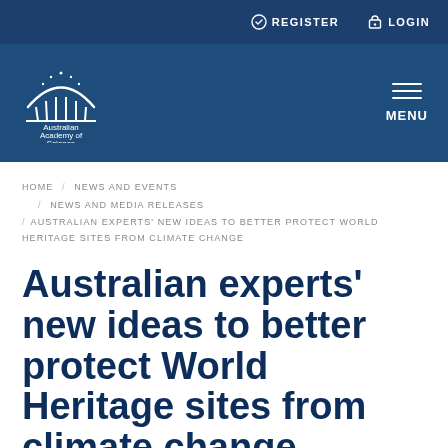REGISTER  LOGIN
[Figure (logo): Australian Academy of Science logo — dome/arch icon above text 'Australian Academy of Science' on dark blue header background, with hamburger MENU icon on the right]
HOME / NEWS AND EVENTS / NEWS AND MEDIA RELEASES / AUSTRALIAN EXPERTS' NEW IDEAS TO BETTER PROTECT WORLD HERITAGE SITES FROM CLIMATE CHANGE
Australian experts' new ideas to better protect World Heritage sites from climate change